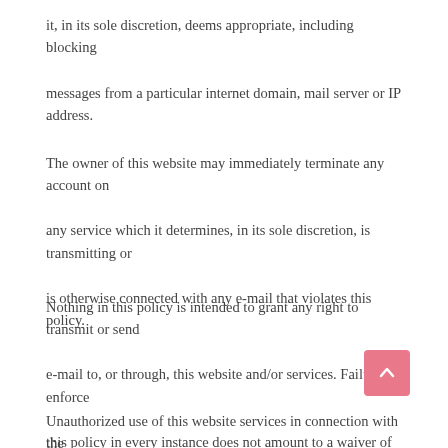it, in its sole discretion, deems appropriate, including blocking
messages from a particular internet domain, mail server or IP address.
The owner of this website may immediately terminate any account on any service which it determines, in its sole discretion, is transmitting or is otherwise connected with any e-mail that violates this policy.
Nothing in this policy is intended to grant any right to transmit or send e-mail to, or through, this website and/or services. Failure to enforce this policy in every instance does not amount to a waiver of rights of the owner of this website.
[Figure (other): Pink/red scroll-to-top button with upward chevron arrow]
Unauthorized use of this website services in connection with the